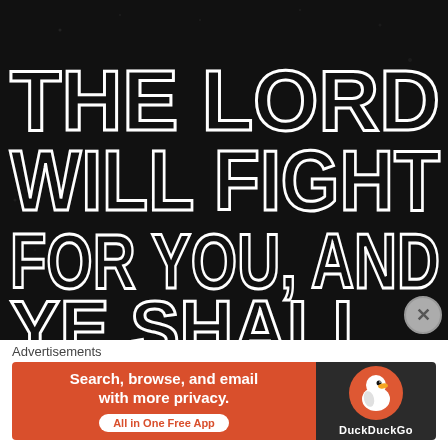[Figure (illustration): Black chalkboard-style background with large hand-lettered white text reading 'THE LORD WILL FIGHT FOR YOU, AND YE...' in bold chunky outlined letters]
Advertisements
[Figure (other): DuckDuckGo advertisement banner. Left orange section: 'Search, browse, and email with more privacy.' with 'All in One Free App' button. Right dark section: DuckDuckGo duck logo and brand name.]